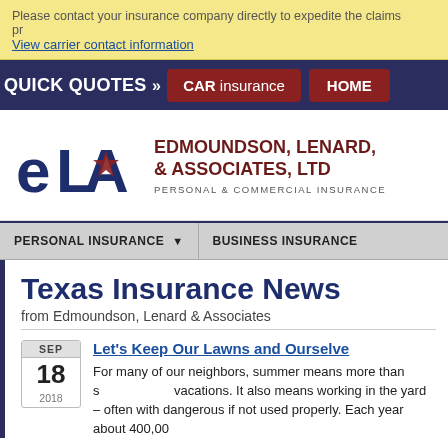Please contact your insurance company directly to expedite the claims process. View carrier contact information
[Figure (screenshot): Navigation bar with QUICK QUOTES, CAR insurance button, HOME button on dark blue background]
[Figure (logo): ELA logo with star — Edmoundson, Lenard, & Associates, Ltd — Personal & Commercial Insurance]
PERSONAL INSURANCE | BUSINESS INSURANCE
Texas Insurance News
from Edmoundson, Lenard & Associates
Let's Keep Our Lawns and Ourselves...
For many of our neighbors, summer means more than sunshine and vacations. It also means working in the yard – often with tools that can be dangerous if not used properly. Each year about 400,000